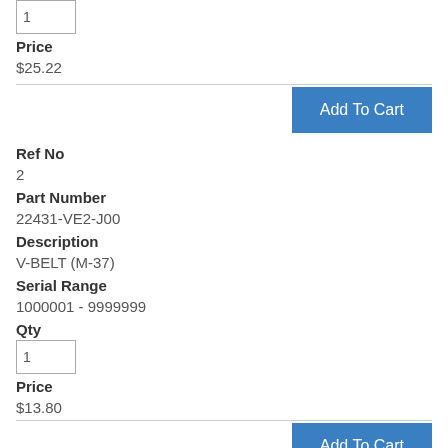Qty
1
Price
$25.22
Add To Cart
Ref No
2
Part Number
22431-VE2-J00
Description
V-BELT (M-37)
Serial Range
1000001 - 9999999
Qty
1
Price
$13.80
Add To Cart